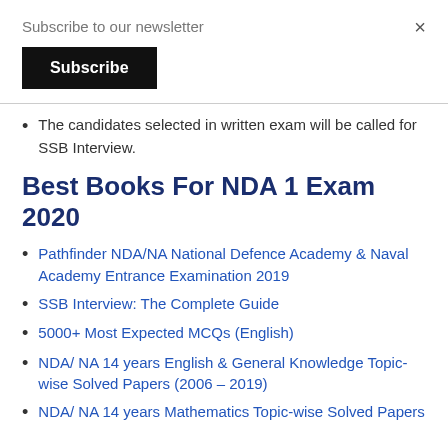Subscribe to our newsletter
Subscribe
×
The candidates selected in written exam will be called for SSB Interview.
Best Books For NDA 1 Exam 2020
Pathfinder NDA/NA National Defence Academy & Naval Academy Entrance Examination 2019
SSB Interview: The Complete Guide
5000+ Most Expected MCQs (English)
NDA/ NA 14 years English & General Knowledge Topic-wise Solved Papers (2006 – 2019)
NDA/ NA 14 years Mathematics Topic-wise Solved Papers